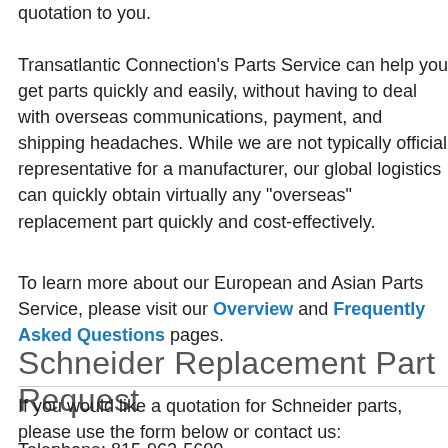quotation to you.
Transatlantic Connection's Parts Service can help you get parts quickly and easily, without having to deal with overseas communications, payment, and shipping headaches. While we are not typically an official representative for a manufacturer, our global logistics can quickly obtain virtually any "overseas" replacement part quickly and cost-effectively.
To learn more about our European and Asian Parts Service, please visit our Overview and Frequently Asked Questions pages.
Schneider Replacement Part Request
If you would like a quotation for Schneider parts, please use the form below or contact us:
Telephone: 815-962-5600
Fax: 815-962-4600